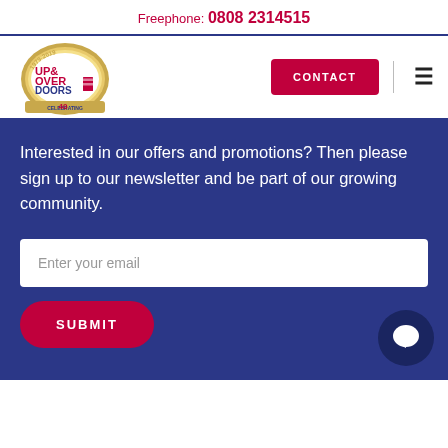Freephone: 0808 2314515
[Figure (logo): Up & Over Doors logo — circular gold badge, 1979-2019, Celebrating 40 Great Years]
CONTACT
Interested in our offers and promotions? Then please sign up to our newsletter and be part of our growing community.
Enter your email
SUBMIT